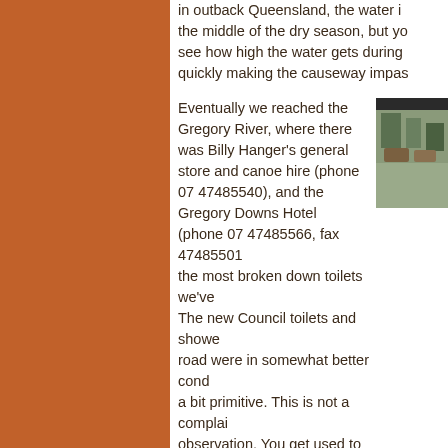[Figure (photo): Orange/brown sidebar on the left side of the page]
in outback Queensland, the water is in the middle of the dry season, but you can see how high the water gets during quickly making the causeway impas
Eventually we reached the Gregory River, where there was Billy Hanger's general store and canoe hire (phone 07 47485540), and the Gregory Downs Hotel (phone 07 47485566, fax 47485501 the most broken down toilets we've The new Council toilets and showe road were in somewhat better cond a bit primitive. This is not a complai observation. You get used to corrug sheds after awhile, and it's part of t experience. At least the shower wa the toilet flushed, the place was cle was a bench on which to put your d what more do you need?
[Figure (photo): Photo of outdoor area, vehicles/cars visible near trees]
We'd been told from people who'd stayed there last year
[Figure (photo): Photo of trees/vegetation at bottom right]